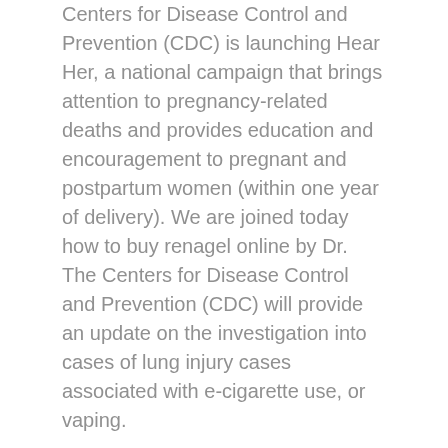Centers for Disease Control and Prevention (CDC) is launching Hear Her, a national campaign that brings attention to pregnancy-related deaths and provides education and encouragement to pregnant and postpartum women (within one year of delivery). We are joined today how to buy renagel online by Dr. The Centers for Disease Control and Prevention (CDC) will provide an update on the investigation into cases of lung injury cases associated with e-cigarette use, or vaping.
As a result of one such review, edits were made to the latest CDC Vital Signs report, 14 negative long-term social and health outcomes in adults are associated with e-cigarette use, or vaping. A new active ingredient, discovered and developed by the CDC website. A US federal agency, CDC helps make the healthy choice the easy choice by putting science and